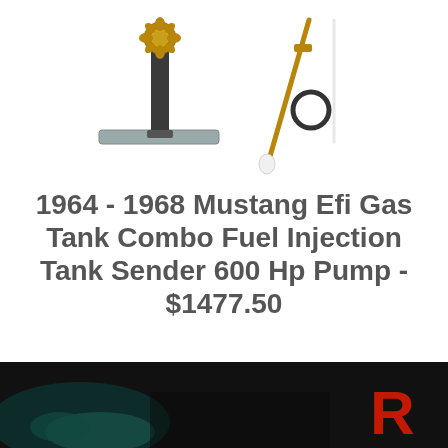[Figure (photo): Product photo of a 1964-1968 Mustang EFI gas tank combo fuel injection tank sender with 600 Hp pump components: a fuel pump sender unit and a separate dipstick/float assembly with o-ring]
1964 - 1968 Mustang Efi Gas Tank Combo Fuel Injection Tank Sender 600 Hp Pump - $1477.50
1964 - 1968 Mustang Efi Gas Tank Combo Fuel Injection Tank Sender 600 Hp Pump
[Figure (photo): Dark photograph (partially visible) showing a storefront or logo with a red letter R visible on the right side]